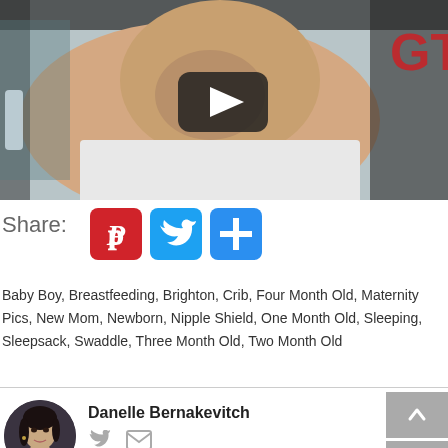[Figure (screenshot): Video thumbnail showing a baby with a play button overlay; text 'GT' visible in red on the right side]
Share:
[Figure (infographic): Share icons: Pinterest (red), Twitter (blue bird), Add/More (blue plus)]
Baby Boy, Breastfeeding, Brighton, Crib, Four Month Old, Maternity Pics, New Mom, Newborn, Nipple Shield, One Month Old, Sleeping, Sleepsack, Swaddle, Three Month Old, Two Month Old
[Figure (photo): Circular author avatar photo of Danelle Bernakevitch, a dark-haired woman]
Danelle Bernakevitch
[Figure (infographic): Author social icons: Twitter bird and envelope/email icon]